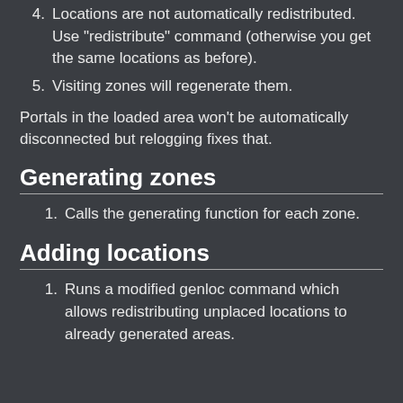4. Locations are not automatically redistributed. Use "redistribute" command (otherwise you get the same locations as before).
5. Visiting zones will regenerate them.
Portals in the loaded area won't be automatically disconnected but relogging fixes that.
Generating zones
1. Calls the generating function for each zone.
Adding locations
1. Runs a modified genloc command which allows redistributing unplaced locations to already generated areas.